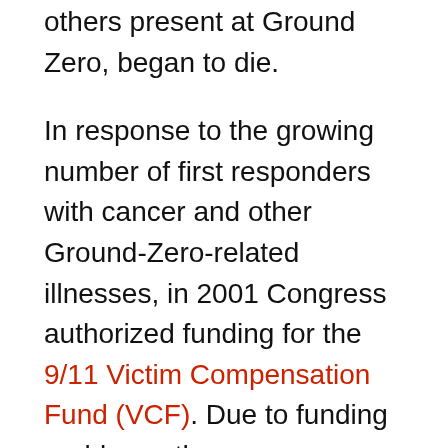others present at Ground Zero, began to die.
In response to the growing number of first responders with cancer and other Ground-Zero-related illnesses, in 2001 Congress authorized funding for the 9/11 Victim Compensation Fund (VCF). Due to funding problems, the program ended in 2004 and wasn't revived until 2010 and 2015.
However, it is the Never Forget the Heroes: James Zadroga, Ray Pfeifer, and